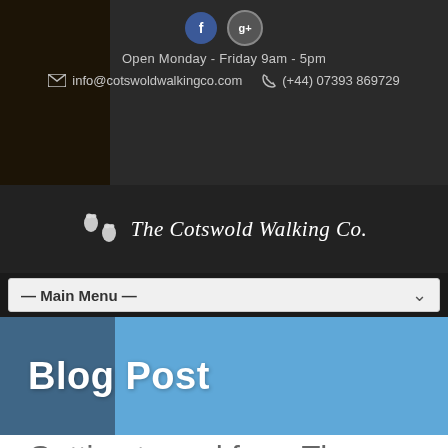Open Monday - Friday 9am - 5pm | info@cotswoldwalkingco.com | (+44) 07393 869729
[Figure (logo): The Cotswold Walking Co. logo with boot prints icon]
— Main Menu —
Blog Post
Getting to and from The Cotswold Way